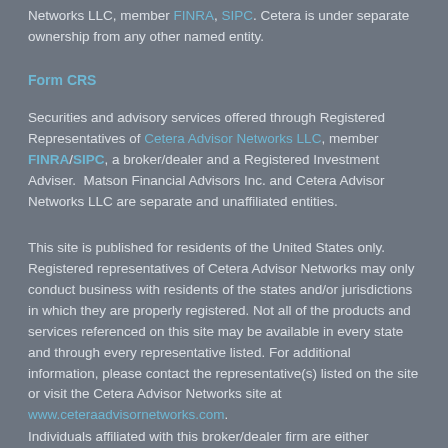Networks LLC, member FINRA, SIPC. Cetera is under separate ownership from any other named entity.
Form CRS
Securities and advisory services offered through Registered Representatives of Cetera Advisor Networks LLC, member FINRA/SIPC, a broker/dealer and a Registered Investment Adviser.  Matson Financial Advisors Inc. and Cetera Advisor Networks LLC are separate and unaffiliated entities.
This site is published for residents of the United States only. Registered representatives of Cetera Advisor Networks may only conduct business with residents of the states and/or jurisdictions in which they are properly registered. Not all of the products and services referenced on this site may be available in every state and through every representative listed. For additional information, please contact the representative(s) listed on the site or visit the Cetera Advisor Networks site at www.ceteraadvisornetworks.com.
Individuals affiliated with this broker/dealer firm are either